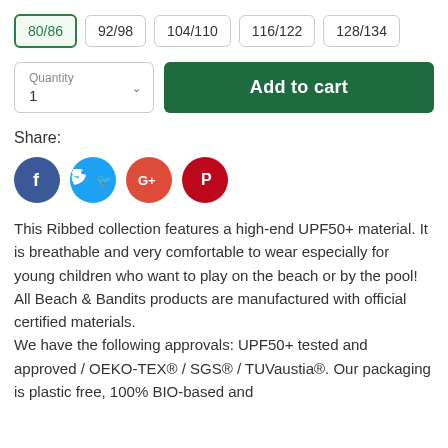80/86 (selected), 92/98, 104/110, 116/122, 128/134
[Figure (screenshot): Quantity selector showing '1' with dropdown arrow and green 'Add to cart' button]
Share:
[Figure (infographic): Social sharing icons: Facebook (blue), Twitter (blue), Google+ (red), Pinterest (red)]
This Ribbed collection features a high-end UPF50+ material. It is breathable and very comfortable to wear especially for young children who want to play on the beach or by the pool! All Beach & Bandits products are manufactured with official certified materials.
We have the following approvals: UPF50+ tested and approved / OEKO-TEX® / SGS® / TUVaustia®. Our packaging is plastic free, 100% BIO-based and